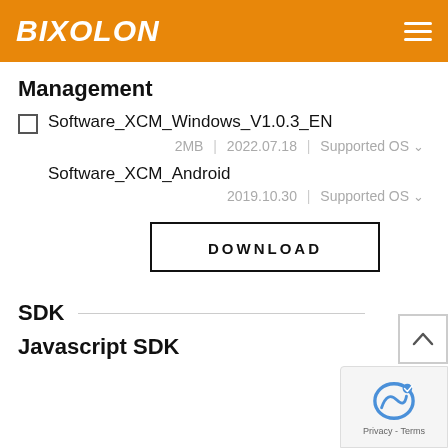BIXOLON
Management
Software_XCM_Windows_V1.0.3_EN
2MB  |  2022.07.18  |  Supported OS
Software_XCM_Android
2019.10.30  |  Supported OS
DOWNLOAD
SDK
Javascript SDK